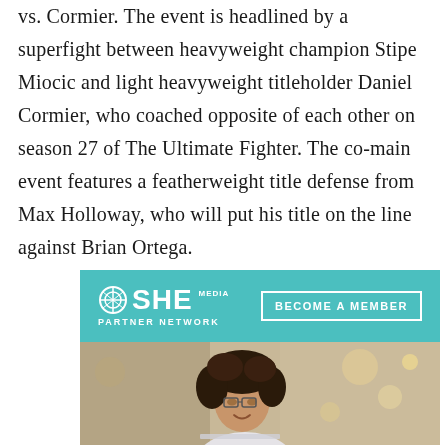vs. Cormier. The event is headlined by a superfight between heavyweight champion Stipe Miocic and light heavyweight titleholder Daniel Cormier, who coached opposite of each other on season 27 of The Ultimate Fighter. The co-main event features a featherweight title defense from Max Holloway, who will put his title on the line against Brian Ortega.
[Figure (other): SHE Media Partner Network advertisement banner with 'Become a Member' button and photo of a smiling woman with glasses and curly hair working on a laptop]